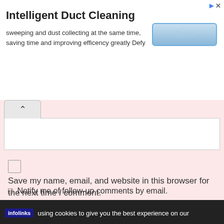[Figure (screenshot): Advertisement banner for Intelligent Duct Cleaning with an Open button]
Intelligent Duct Cleaning
sweeping and dust collecting at the same time, saving time and improving efficency greatly Defy
[Figure (screenshot): Comment form area with text input box and collapse button]
Save my name, email, and website in this browser for the next time I comment.
Notify me of follow-up comments by email.
Notify me of new posts by email.
We using cookies to give you the best experience on our
[Figure (screenshot): Victoria's Secret advertisement banner with model, VS logo, SHOP THE COLLECTION text, and SHOP NOW button]